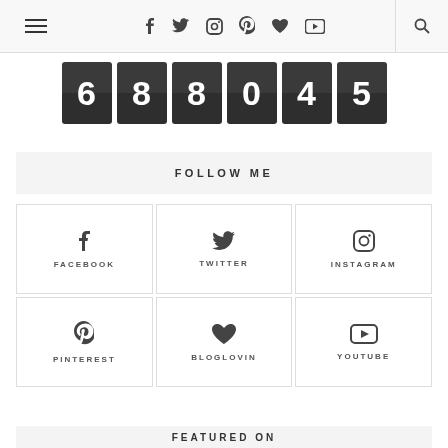Navigation bar with hamburger menu, social icons (facebook, twitter, instagram, pinterest, heart/bloglovin, youtube), and search
[Figure (other): Flip counter showing the number 688045 in dark digit tiles]
FOLLOW ME
[Figure (infographic): 3x2 grid of social media follow buttons: FACEBOOK, TWITTER, INSTAGRAM, PINTEREST, BLOGLOVIN, YOUTUBE with respective icons]
FEATURED ON